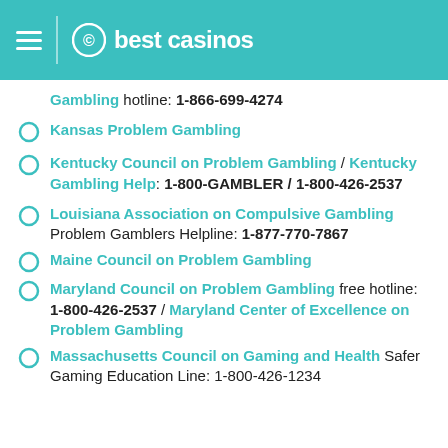best casinos
Gambling hotline: 1-866-699-4274
Kansas Problem Gambling
Kentucky Council on Problem Gambling / Kentucky Gambling Help: 1-800-GAMBLER / 1-800-426-2537
Louisiana Association on Compulsive Gambling Problem Gamblers Helpline: 1-877-770-7867
Maine Council on Problem Gambling
Maryland Council on Problem Gambling free hotline: 1-800-426-2537 / Maryland Center of Excellence on Problem Gambling
Massachusetts Council on Gaming and Health Safer Gaming Education Line: 1-800-426-1234